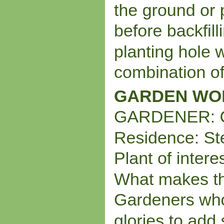the ground or purchased at a nursery, before backfilling the waiting tomato planting hole with the entire combination of ingredients.
GARDEN WONDER
GARDENER: Christine Dyer
Residence: Stevenson Ranch
Plant of interest: Morning glory
What makes this plant amazing: Gardeners who have grown morning glories to add some color to their garden usually realize their mistake too late: Once you plant one, it's never going away.
You can hack at the roots with a hoe. You can burn the plant to the ground. You can jump on it until it's crushed. But, inevitably, the plant will reseed itself and come up again in time for next season, bringing its own reward, the riot...